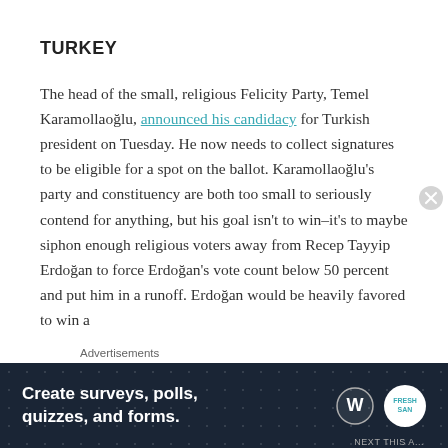TURKEY
The head of the small, religious Felicity Party, Temel Karamollaoğlu, announced his candidacy for Turkish president on Tuesday. He now needs to collect signatures to be eligible for a spot on the ballot. Karamollaoğlu's party and constituency are both too small to seriously contend for anything, but his goal isn't to win–it's to maybe siphon enough religious voters away from Recep Tayyip Erdoğan to force Erdoğan's vote count below 50 percent and put him in a runoff. Erdoğan would be heavily favored to win a
[Figure (other): Advertisement banner: dark navy background with dot pattern. Text reads 'Create surveys, polls, quizzes, and forms.' with WordPress and FreshSan logos.]